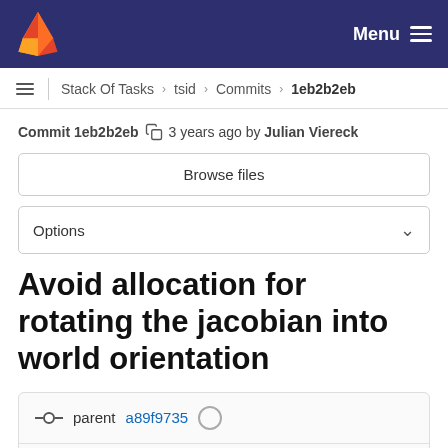Menu
Stack Of Tasks > tsid > Commits > 1eb2b2eb
Commit 1eb2b2eb 3 years ago by Julian Viereck
Browse files
Options
Avoid allocation for rotating the jacobian into world orientation
parent a89f9735